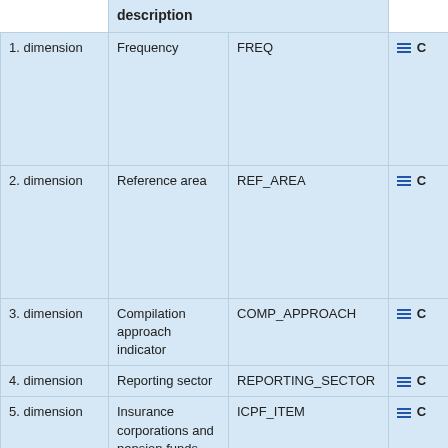|  | description |  |  |
| --- | --- | --- | --- |
| 1. dimension | Frequency | FREQ | ≡ C |
| 2. dimension | Reference area | REF_AREA | ≡ C |
| 3. dimension | Compilation approach indicator | COMP_APPROACH | ≡ C |
| 4. dimension | Reporting sector | REPORTING_SECTOR | ≡ C |
| 5. dimension | Insurance corporations and pension funds assets and liabilities | ICPF_ITEM | ≡ C |
| 6. dimension | Maturity | MATURITY | ≡ C |